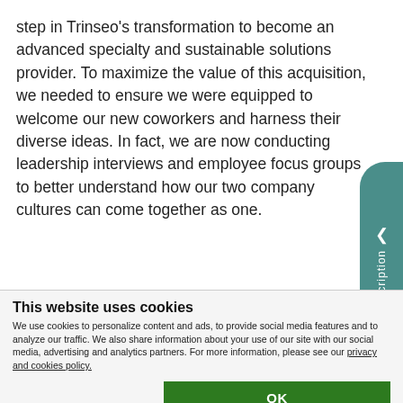step in Trinseo's transformation to become an advanced specialty and sustainable solutions provider. To maximize the value of this acquisition, we needed to ensure we were equipped to welcome our new coworkers and harness their diverse ideas. In fact, we are now conducting leadership interviews and employee focus groups to better understand how our two company cultures can come together as one.
From top to bottom, we have made building a sustainab...
This website uses cookies
We use cookies to personalize content and ads, to provide social media features and to analyze our traffic. We also share information about your use of our site with our social media, advertising and analytics partners. For more information, please see our privacy and cookies policy.
OK
Necessary  Preferences  Statistics  Marketing  Show details